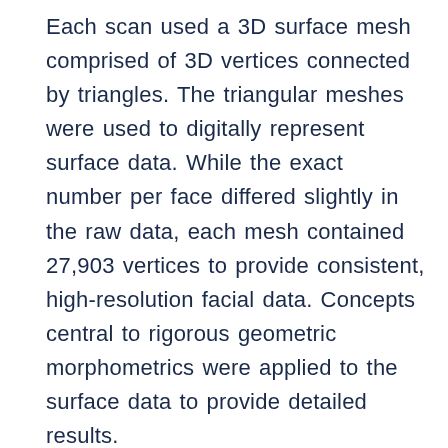Each scan used a 3D surface mesh comprised of 3D vertices connected by triangles. The triangular meshes were used to digitally represent surface data. While the exact number per face differed slightly in the raw data, each mesh contained 27,903 vertices to provide consistent, high-resolution facial data. Concepts central to rigorous geometric morphometrics were applied to the surface data to provide detailed results.
To analyze the effects of sex on facial size and shape, a variety of facial sub-regions were first specified based on the potential for surgical application and relevance to surgical decision